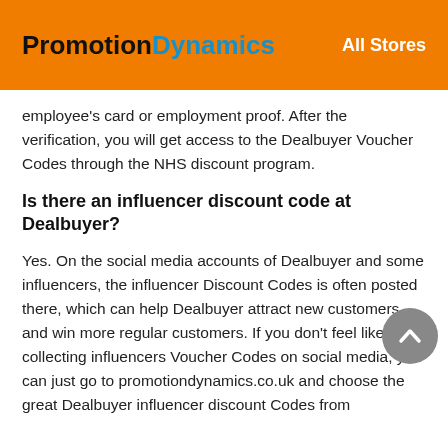PromotionDynamics   All Stores
employee's card or employment proof. After the verification, you will get access to the Dealbuyer Voucher Codes through the NHS discount program.
Is there an influencer discount code at Dealbuyer?
Yes. On the social media accounts of Dealbuyer and some influencers, the influencer Discount Codes is often posted there, which can help Dealbuyer attract new customers and win more regular customers. If you don't feel like collecting influencers Voucher Codes on social media, you can just go to promotiondynamics.co.uk and choose the great Dealbuyer influencer discount Codes from